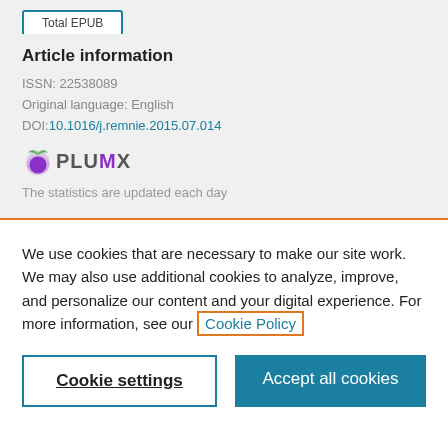Total EPUB
Article information
ISSN: 22538089
Original language: English
DOI:10.1016/j.remnie.2015.07.014
[Figure (logo): PlumX logo with stylized fruit icon]
The statistics are updated each day
We use cookies that are necessary to make our site work. We may also use additional cookies to analyze, improve, and personalize our content and your digital experience. For more information, see our Cookie Policy
Cookie settings
Accept all cookies